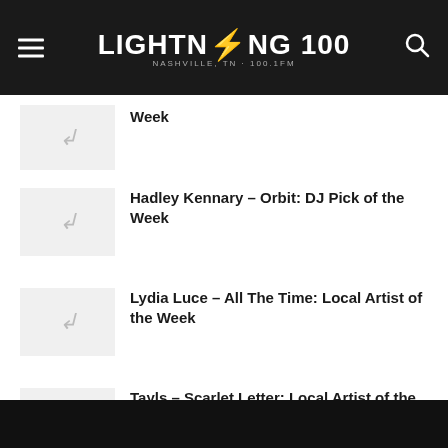Lightning 100 – Nashville, TN · 100.1FM
Week
Hadley Kennary – Orbit: DJ Pick of the Week
Lydia Luce – All The Time: Local Artist of the Week
Tayls – Scarlet Letter: Local Artist of the Week